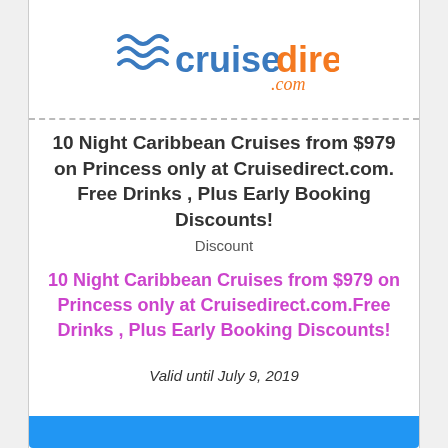[Figure (logo): CruiseDirect.com logo with blue wave icon, 'cruise' in blue and 'direct' in orange, '.com' in orange italic script]
10 Night Caribbean Cruises from $979 on Princess only at Cruisedirect.com. Free Drinks , Plus Early Booking Discounts!
Discount
10 Night Caribbean Cruises from $979 on Princess only at Cruisedirect.com.Free Drinks , Plus Early Booking Discounts!
Valid until July 9, 2019